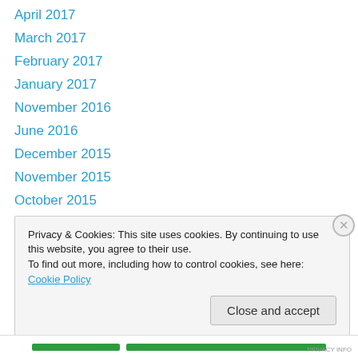April 2017
March 2017
February 2017
January 2017
November 2016
June 2016
December 2015
November 2015
October 2015
September 2015
June 2015
May 2015
April 2015
Privacy & Cookies: This site uses cookies. By continuing to use this website, you agree to their use.
To find out more, including how to control cookies, see here: Cookie Policy
Close and accept